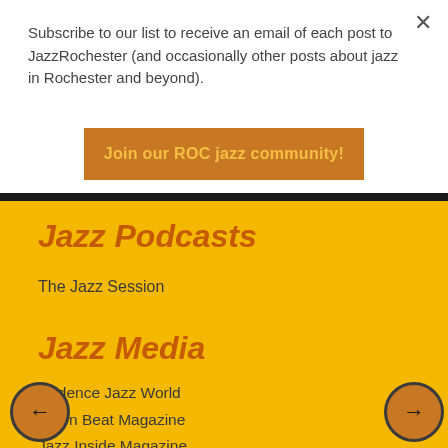Subscribe to our list to receive an email of each post to JazzRochester (and occasionally other posts about jazz in Rochester and beyond).
Join our ROC jazz community!
Jazz Podcasts
The Jazz Session
Jazz Media
Cadence Jazz World
Down Beat Magazine
Jazz Inside Magazine
Jazz Journalists Association
Jazz Video Guy (YouTube)